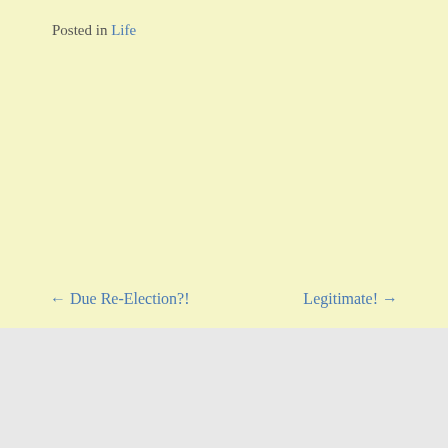Posted in Life
← Due Re-Election?!
Legitimate! →
Leave a Reply
Your email address will not be published.
Advertisements
[Figure (other): DuckDuckGo advertisement banner: orange left panel with text 'Search, browse, and email with more privacy. All in One Free App' and dark right panel with DuckDuckGo logo]